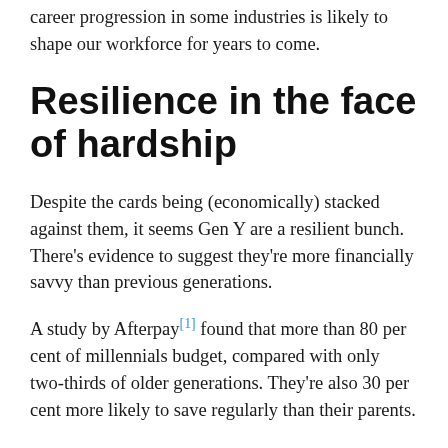career progression in some industries is likely to shape our workforce for years to come.
Resilience in the face of hardship
Despite the cards being (economically) stacked against them, it seems Gen Y are a resilient bunch. There’s evidence to suggest they're more financially savvy than previous generations.
A study by Afterpay[1] found that more than 80 per cent of millennials budget, compared with only two-thirds of older generations. They’re also 30 per cent more likely to save regularly than their parents.
UBank agrees, saying that Aussie